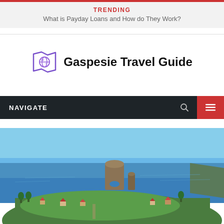TRENDING
What is Payday Loans and How do They Work?
Gaspesie Travel Guide
NAVIGATE
[Figure (photo): Aerial landscape photo of Percé Rock (Rocher Percé) in Gaspésie, Quebec, Canada, showing the iconic rock formation in the blue sea with a green coastal village in the foreground.]